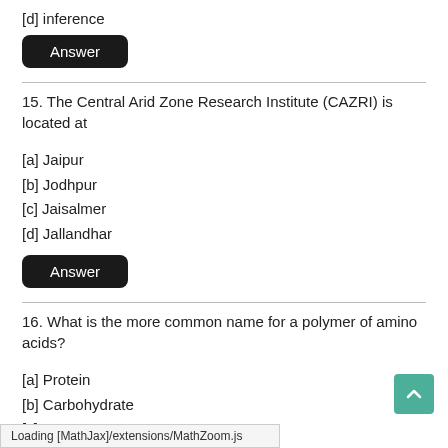[d] inference
Answer
15. The Central Arid Zone Research Institute (CAZRI) is located at
[a] Jaipur
[b] Jodhpur
[c] Jaisalmer
[d] Jallandhar
Answer
16. What is the more common name for a polymer of amino acids?
[a] Protein
[b] Carbohydrate
[c] Enzyme
[d] Sugar
Answer
Loading [MathJax]/extensions/MathZoom.js